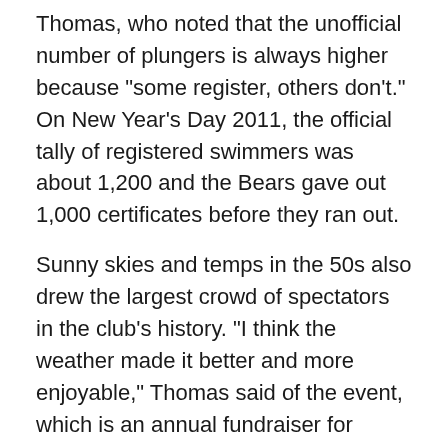Thomas, who noted that the unofficial number of plungers is always higher because "some register, others don't." On New Year's Day 2011, the official tally of registered swimmers was about 1,200 and the Bears gave out 1,000 certificates before they ran out.
Sunny skies and temps in the 50s also drew the largest crowd of spectators in the club's history. "I think the weather made it better and more enjoyable," Thomas said of the event, which is an annual fundraiser for Camp Sunshine, a retreat for children with life threatening diseases. According to the chart at Freezin for a Reason, more than $37,000 has been received in donations. Thomas said pledges are still coming in and the Coney Island Polar Bears expect to meet their goal of raising $50,000. (If you missed the event, it's not too late to mail a check.)